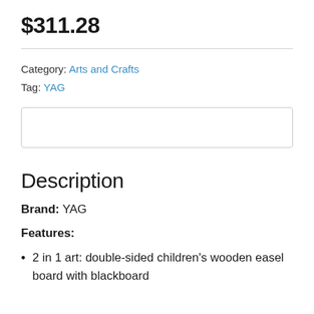$311.28
Category: Arts and Crafts
Tag: YAG
[Figure (other): Empty input/form box]
Description
Brand: YAG
Features:
2 in 1 art: double-sided children's wooden easel board with blackboard